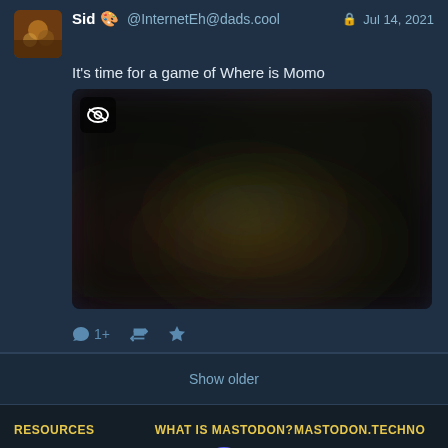Sid 🎨 @InternetEh@dads.cool  🔒 Jul 14, 2021
It's time for a game of Where is Momo
[Figure (photo): Blurred/obscured photo with a content-sensitive eye icon badge in the top-left corner. The image shows a blurred scene with muted blue, green, brown and dark tones.]
↩ 1+  🔁  ★
Show older
RESOURCES
WHAT IS MASTODON?
MASTODON.TECHNO
Terms of service
Privacy policy
About
v3.5.3